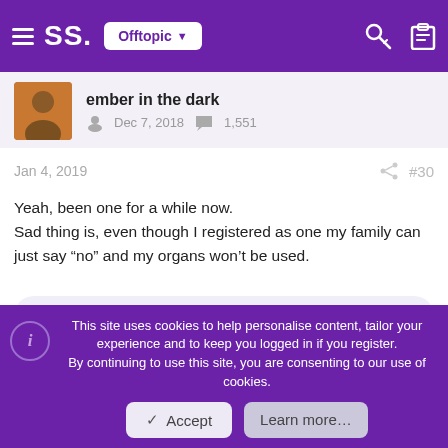SS. Offtopic
ember in the dark
Dec 7, 2018  1,551
Jan 4, 2019  #30
Yeah, been one for a while now.
Sad thing is, even though I registered as one my family can just say “no” and my organs won’t be used.
Angel Goddess
This site uses cookies to help personalise content, tailor your experience and to keep you logged in if you register.
By continuing to use this site, you are consenting to our use of cookies.
Accept
Learn more…